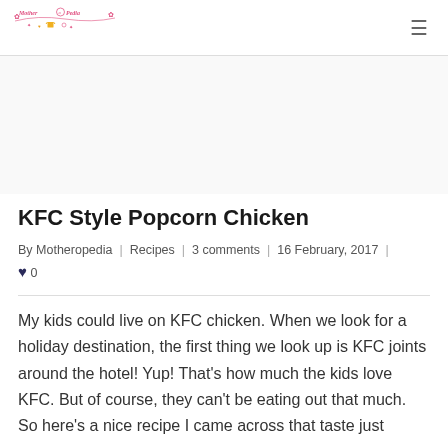Motheropedia [logo] [hamburger menu]
[Figure (other): Advertisement/blank space area]
KFC Style Popcorn Chicken
By Motheropedia | Recipes | 3 comments | 16 February, 2017 | ♥ 0
My kids could live on KFC chicken. When we look for a holiday destination, the first thing we look up is KFC joints around the hotel! Yup! That's how much the kids love KFC. But of course, they can't be eating out that much. So here's a nice recipe I came across that taste just